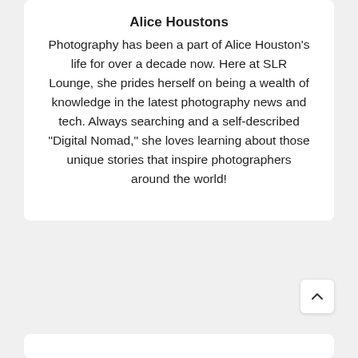Alice Houstons
Photography has been a part of Alice Houston’s life for over a decade now. Here at SLR Lounge, she prides herself on being a wealth of knowledge in the latest photography news and tech. Always searching and a self-described “Digital Nomad,” she loves learning about those unique stories that inspire photographers around the world!